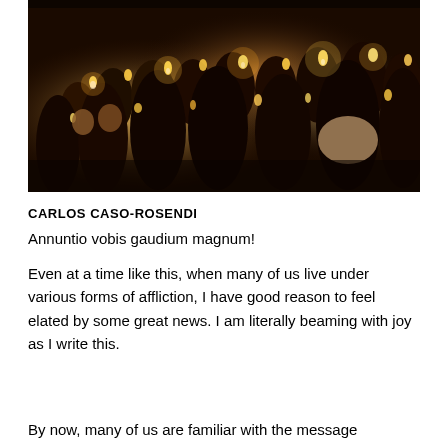[Figure (photo): A large group of people gathered indoors in a dark setting, each holding lit candles. The warm glow of the candles illuminates the faces of the crowd. The scene suggests a religious or ceremonial vigil.]
CARLOS CASO-ROSENDI
Annuntio vobis gaudium magnum!
Even at a time like this, when many of us live under various forms of affliction, I have good reason to feel elated by some great news. I am literally beaming with joy as I write this.
By now, many of us are familiar with the message